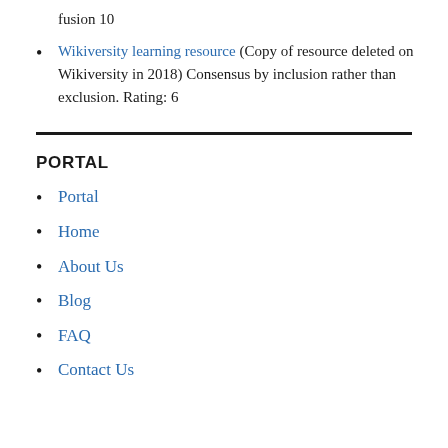fusion 10
Wikiversity learning resource (Copy of resource deleted on Wikiversity in 2018) Consensus by inclusion rather than exclusion. Rating: 6
PORTAL
Portal
Home
About Us
Blog
FAQ
Contact Us